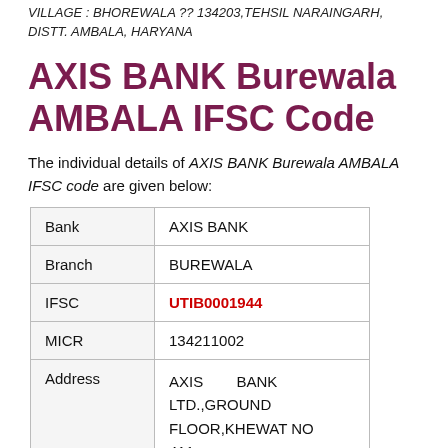VILLAGE : BHOREWALA ?? 134203,TEHSIL NARAINGARH, DISTT. AMBALA, HARYANA
AXIS BANK Burewala AMBALA IFSC Code
The individual details of AXIS BANK Burewala AMBALA IFSC code are given below:
|  |  |
| --- | --- |
| Bank | AXIS BANK |
| Branch | BUREWALA |
| IFSC | UTIB0001944 |
| MICR | 134211002 |
| Address | AXIS BANK LTD.,GROUND FLOOR,KHEWAT NO. 411 |